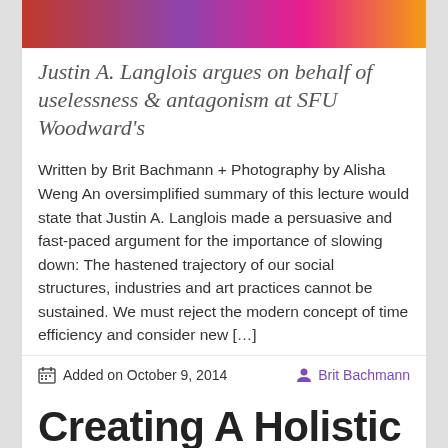[Figure (photo): Colorful abstract/brick wall header image with magenta and warm tones]
Justin A. Langlois argues on behalf of uselessness & antagonism at SFU Woodward's
Written by Brit Bachmann + Photography by Alisha Weng An oversimplified summary of this lecture would state that Justin A. Langlois made a persuasive and fast-paced argument for the importance of slowing down: The hastened trajectory of our social structures, industries and art practices cannot be sustained. We must reject the modern concept of time efficiency and consider new […]
Added on October 9, 2014   Brit Bachmann
Creating A Holistic Homefront